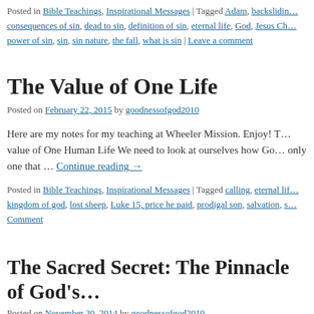Posted in Bible Teachings, Inspirational Messages | Tagged Adam, backsliding, consequences of sin, dead to sin, definition of sin, eternal life, God, Jesus Ch..., power of sin, sin, sin nature, the fall, what is sin | Leave a comment
The Value of One Life
Posted on February 22, 2015 by goodnessofgod2010
Here are my notes for my teaching at Wheeler Mission. Enjoy! The value of One Human Life We need to look at ourselves how Go... only one that … Continue reading →
Posted in Bible Teachings, Inspirational Messages | Tagged calling, eternal lif..., kingdom of god, lost sheep, Luke 15, price he paid, prodigal son, salvation, s... Comment
The Sacred Secret: The Pinnacle of God's...
Posted on November 30, 2014 by goodnessofgod2010
The Sacred Secret is one of the most incredible things that Go...